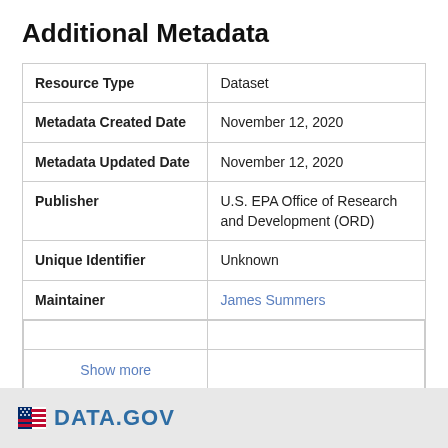Additional Metadata
|  |  |
| --- | --- |
| Resource Type | Dataset |
| Metadata Created Date | November 12, 2020 |
| Metadata Updated Date | November 12, 2020 |
| Publisher | U.S. EPA Office of Research and Development (ORD) |
| Unique Identifier | Unknown |
| Maintainer | James Summers |
| Show more |  |
Didn't find what you're looking for? Suggest a dataset here.
[Figure (logo): DATA.GOV logo with American flag stripes icon]